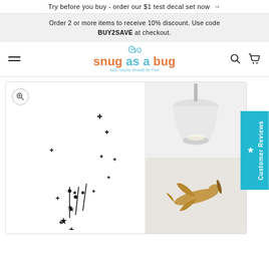Try before you buy - order our $1 test decal set now →
Order 2 or more items to receive 10% discount. Use code BUY2SAVE at checkout.
[Figure (logo): Snug as a Bug logo with curly decoration and tagline 'kids rooms should be Fun']
[Figure (photo): E-commerce product page showing a black crescent moon with stars wall decal as main product image, with secondary lifestyle images showing a room with lamp and wooden airplane toy]